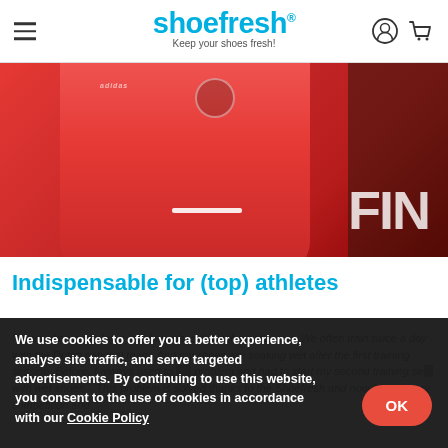shoefresh® — Keep your shoes fresh!
[Figure (photo): Person wearing a red Adidas jersey, torso visible, with a partial 'FIN' text banner visible on the right side of the image]
Indispensable for (top) athletes
"I train often and play a lot of matches throughout the year. We often train twice a day with the Dutch national team. And my shoes are soaking wet after the first training session. Before, I always used to ... problem and had to start my second training se... with wet shoes... This problem is solved thanks to the Shoefresh and now I start every competition and
We use cookies to offer you a better experience, analyse site traffic, and serve targeted advertisements. By continuing to use this website, you consent to the use of cookies in accordance with our Cookie Policy